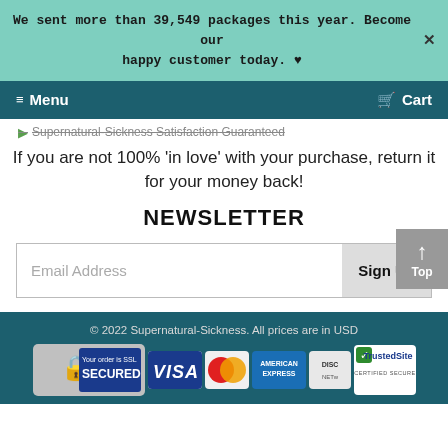We sent more than 39,549 packages this year. Become our happy customer today. ♥
≡ Menu   🛒 Cart
▶Supernatural-Sickness Satisfaction Guaranteed
If you are not 100% 'in love' with your purchase, return it for your money back!
NEWSLETTER
Email Address
Sign Up
© 2022 Supernatural-Sickness. All prices are in USD
[Figure (infographic): Payment security badges: SSL Secured shield, VISA, MasterCard, American Express, Discover, TrustedSite Certified Secure logos]